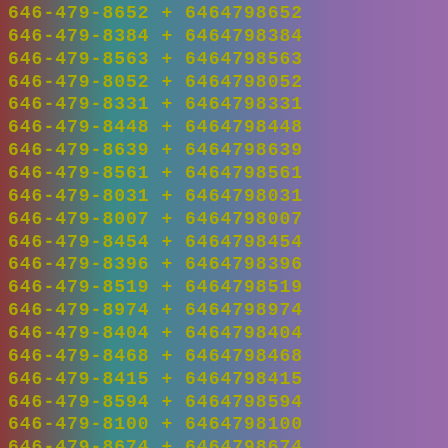646-479-8652 + 6464798652
646-479-8384 + 6464798384
646-479-8563 + 6464798563
646-479-8052 + 6464798052
646-479-8331 + 6464798331
646-479-8448 + 6464798448
646-479-8639 + 6464798639
646-479-8561 + 6464798561
646-479-8031 + 6464798031
646-479-8007 + 6464798007
646-479-8454 + 6464798454
646-479-8396 + 6464798396
646-479-8519 + 6464798519
646-479-8974 + 6464798974
646-479-8404 + 6464798404
646-479-8468 + 6464798468
646-479-8415 + 6464798415
646-479-8594 + 6464798594
646-479-8100 + 6464798100
646-479-8674 + 6464798674
646-479-8979 + 6464798979
646-479-8935 + 6464798935